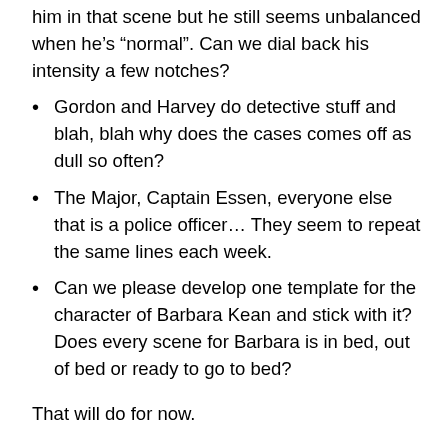him in that scene but he still seems unbalanced when he's “normal”. Can we dial back his intensity a few notches?
Gordon and Harvey do detective stuff and blah, blah why does the cases comes off as dull so often?
The Major, Captain Essen, everyone else that is a police officer… They seem to repeat the same lines each week.
Can we please develop one template for the character of Barbara Kean and stick with it? Does every scene for Barbara is in bed, out of bed or ready to go to bed?
That will do for now.